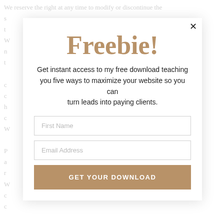We reserve the right at any time to modify or discontinue the service without notice for any reason at any time. We reserve the right to limit the quantities of any
[Figure (screenshot): A modal popup dialog box with a close button (×). Contains the title 'Freebie!' in large tan/brown serif font, followed by body text: 'Get instant access to my free download teaching you five ways to maximize your website so you can turn leads into paying clients.' Below that are two input fields labeled 'First Name' and 'Email Address', and a tan button labeled 'GET YOUR DOWNLOAD'.]
Freebie!
Get instant access to my free download teaching you five ways to maximize your website so you can turn leads into paying clients.